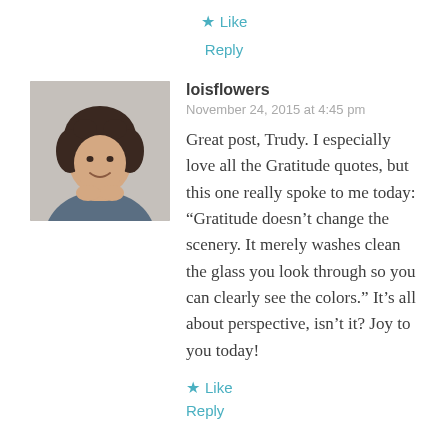★ Like
Reply
[Figure (photo): Profile photo of loisflowers, a woman with curly dark hair, smiling, chin resting on hands, wearing a blue-gray top]
loisflowers
November 24, 2015 at 4:45 pm
Great post, Trudy. I especially love all the Gratitude quotes, but this one really spoke to me today: “Gratitude doesn’t change the scenery. It merely washes clean the glass you look through so you can clearly see the colors.” It’s all about perspective, isn’t it? Joy to you today!
★ Like
Reply